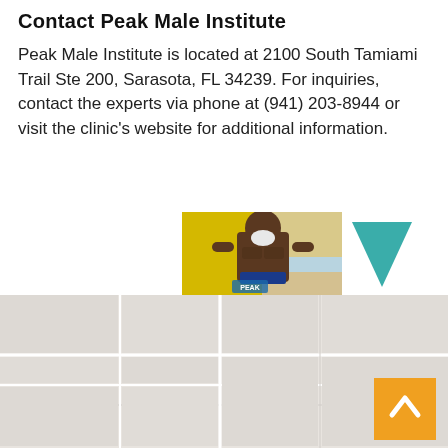Contact Peak Male Institute
Peak Male Institute is located at 2100 South Tamiami Trail Ste 200, Sarasota, FL 34239. For inquiries, contact the experts via phone at (941) 203-8944 or visit the clinic’s website for additional information.
[Figure (photo): An older muscular man with a white beard holding a yellow surfboard, with a teal triangle logo element, Peak Male Institute branding]
[Figure (map): A light grey/beige map view showing a geographic area, with a scroll-to-top orange button in the bottom right corner]